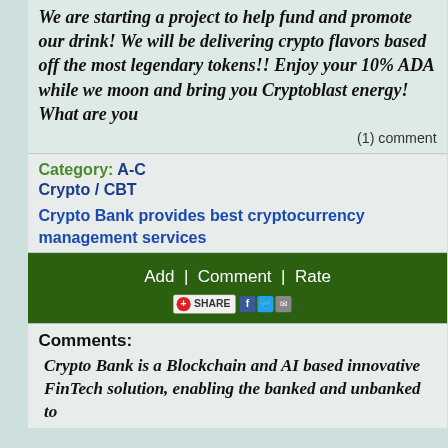We are starting a project to help fund and promote our drink! We will be delivering crypto flavors based off the most legendary tokens!! Enjoy your 10% ADA while we moon and bring you Cryptoblast energy! What are you
(1) comment
Category: A-C
Crypto / CBT
Crypto Bank provides best cryptocurrency management services
Add  |  Comment  |  Rate
[Figure (other): Share button bar with Facebook, Twitter, email icons]
Comments:
Crypto Bank is a Blockchain and AI based innovative FinTech solution, enabling the banked and unbanked to